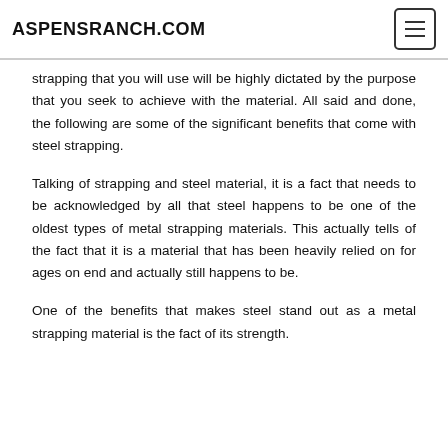ASPENSRANCH.COM
strapping that you will use will be highly dictated by the purpose that you seek to achieve with the material. All said and done, the following are some of the significant benefits that come with steel strapping.
Talking of strapping and steel material, it is a fact that needs to be acknowledged by all that steel happens to be one of the oldest types of metal strapping materials. This actually tells of the fact that it is a material that has been heavily relied on for ages on end and actually still happens to be.
One of the benefits that makes steel stand out as a metal strapping material is the fact of its strength.